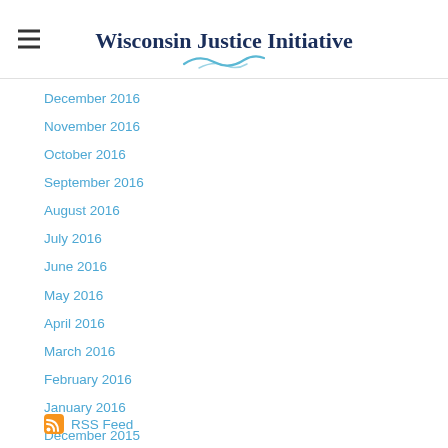Wisconsin Justice Initiative
December 2016
November 2016
October 2016
September 2016
August 2016
July 2016
June 2016
May 2016
April 2016
March 2016
February 2016
January 2016
December 2015
November 2015
October 2015
RSS Feed